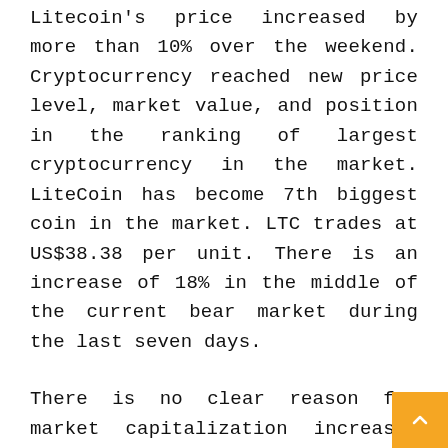Litecoin's price increased by more than 10% over the weekend. Cryptocurrency reached new price level, market value, and position in the ranking of largest cryptocurrency in the market. LiteCoin has become 7th biggest coin in the market. LTC trades at US$38.38 per unit. There is an increase of 18% in the middle of the current bear market during the last seven days.
There is no clear reason for market capitalization increase. Increase in Litecoin is mainly in Asia. Litecoin Lightning Network has exceeded 100